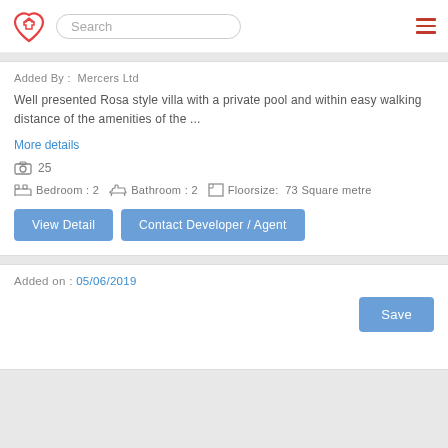Search
Added By : Mercers Ltd
Well presented Rosa style villa with a private pool and within easy walking distance of the amenities of the ...
More details
25
Bedroom : 2   Bathroom : 2   Floorsize: 73 Square metre
View Detail
Contact Developer / Agent
Added on : 05/06/2019
Save